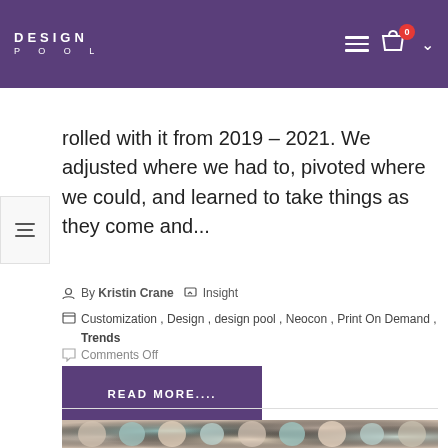DESIGN POOL
rolled with it from 2019 – 2021. We adjusted where we had to, pivoted where we could, and learned to take things as they come and...
By Kristin Crane  Insight
Customization, Design, design pool, Neocon, Print On Demand, Trends
Comments Off
READ MORE....
[Figure (photo): Rolled fabric bolts in various colors and patterns at the bottom of the page]